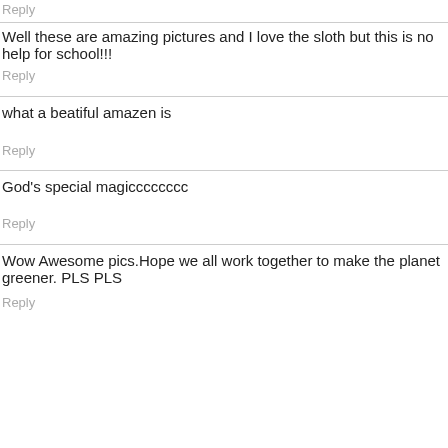Reply
Well these are amazing pictures and I love the sloth but this is no help for school!!!
Reply
what a beatiful amazen is
Reply
God's special magicccccccc
Reply
Wow Awesome pics.Hope we all work together to make the planet greener. PLS PLS
Reply